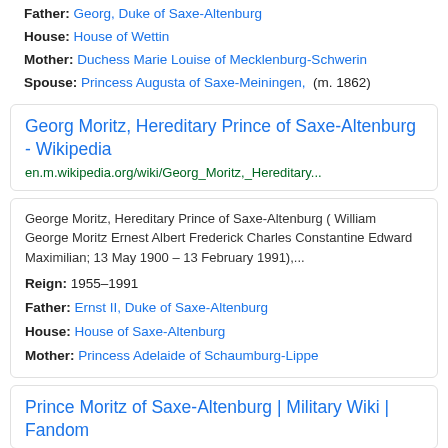Father: Georg, Duke of Saxe-Altenburg
House: House of Wettin
Mother: Duchess Marie Louise of Mecklenburg-Schwerin
Spouse: Princess Augusta of Saxe-Meiningen,  (m. 1862)
Georg Moritz, Hereditary Prince of Saxe-Altenburg - Wikipedia
en.m.wikipedia.org/wiki/Georg_Moritz,_Hereditary...
George Moritz, Hereditary Prince of Saxe-Altenburg ( William George Moritz Ernest Albert Frederick Charles Constantine Edward Maximilian; 13 May 1900 – 13 February 1991),...
Reign: 1955–1991
Father: Ernst II, Duke of Saxe-Altenburg
House: House of Saxe-Altenburg
Mother: Princess Adelaide of Schaumburg-Lippe
Prince Moritz of Saxe-Altenburg | Military Wiki | Fandom